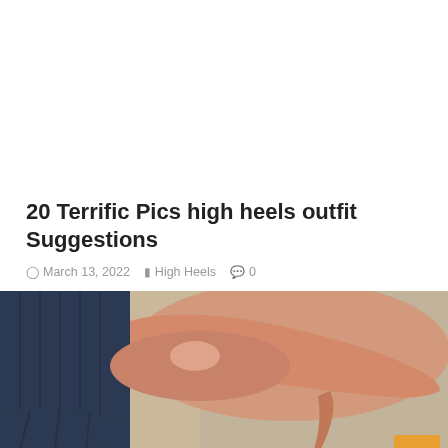20 Terrific Pics high heels outfit Suggestions
March 13, 2022   High Heels   0
[Figure (photo): Close-up photo of a woman's feet wearing nude patent leather stiletto high heels with dark blue skinny jeans, on a concrete surface.]